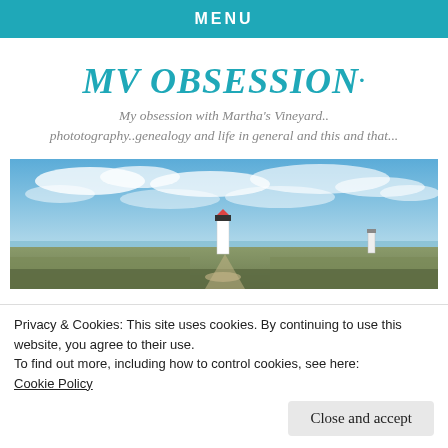MENU
MV OBSESSION
My obsession with Martha's Vineyard.. phototography..genealogy and life in general and this and that...
[Figure (photo): Panoramic photo of a lighthouse in a coastal landscape with blue sky and clouds, Martha's Vineyard]
Privacy & Cookies: This site uses cookies. By continuing to use this website, you agree to their use.
To find out more, including how to control cookies, see here: Cookie Policy
Close and accept